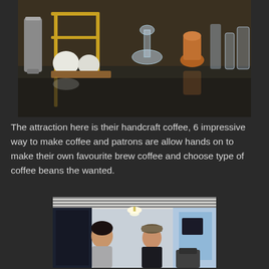[Figure (photo): Coffee bar counter with gold/brass siphon coffee brewing equipment, glass decanters, beakers, and various brewing apparatus displayed on a reflective marble surface]
The attraction here is their handcraft coffee, 6 impressive way to make coffee and patrons are allow hands on to make their own favourite brew coffee and choose type of coffee beans the wanted.
[Figure (photo): Two people in a bright cafe interior — a woman and a man wearing a cap, standing near coffee equipment with ceiling lights and striped ceiling visible]